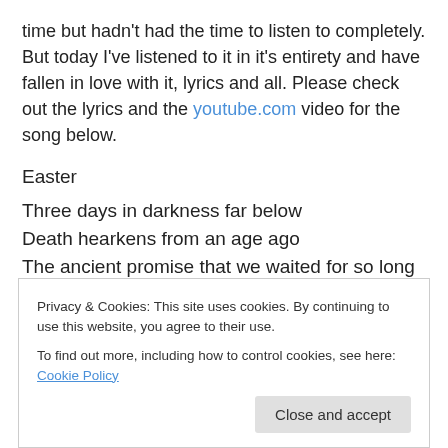time but hadn't had the time to listen to completely. But today I've listened to it in it's entirety and have fallen in love with it, lyrics and all. Please check out the lyrics and the youtube.com video for the song below.
Easter
Three days in darkness far below
Death hearkens from an age ago
The ancient promise that we waited for so long
Has gone away
Privacy & Cookies: This site uses cookies. By continuing to use this website, you agree to their use. To find out more, including how to control cookies, see here: Cookie Policy